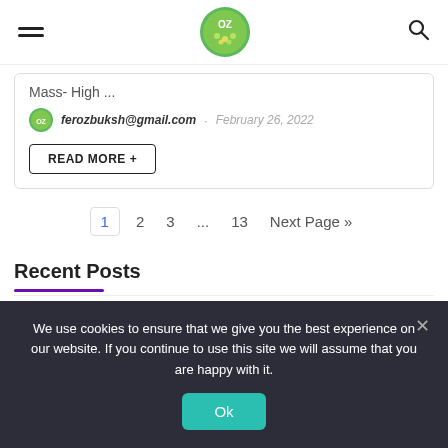OZ [logo] [hamburger menu] [search icon]
Mass- High ...
ferozbuksh@gmail.com · February 26, 2022
READ MORE +
1  2  3  ...  13  Next Page »
Recent Posts
We use cookies to ensure that we give you the best experience on our website. If you continue to use this site we will assume that you are happy with it.
Ok